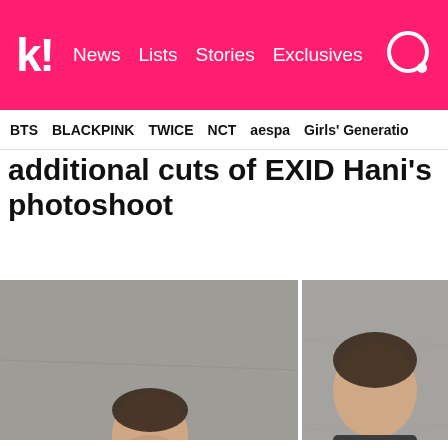k! News Lists Stories Exclusives
BTS BLACKPINK TWICE NCT aespa Girls' Generation
additional cuts of EXID Hani's photoshoot
[Figure (photo): Three photoshoot images of EXID Hani in athletic/sportswear. Left: large image of Hani crouching in black athletic wear against a concrete wall. Top right: close-up of Hani in dark sportswear. Bottom right: Hani in white sportswear with white headband.]